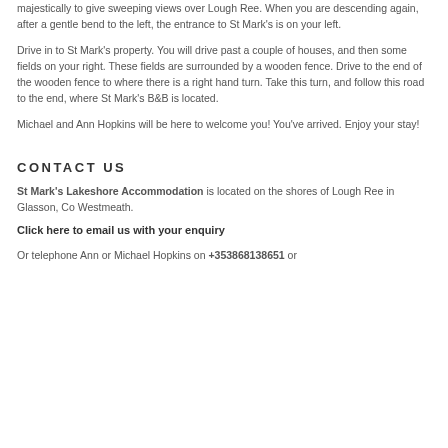majestically to give sweeping views over Lough Ree. When you are descending again, after a gentle bend to the left, the entrance to St Mark's is on your left.
Drive in to St Mark's property. You will drive past a couple of houses, and then some fields on your right. These fields are surrounded by a wooden fence. Drive to the end of the wooden fence to where there is a right hand turn. Take this turn, and follow this road to the end, where St Mark's B&B is located.
Michael and Ann Hopkins will be here to welcome you! You've arrived. Enjoy your stay!
CONTACT US
St Mark's Lakeshore Accommodation is located on the shores of Lough Ree in Glasson, Co Westmeath.
Click here to email us with your enquiry
Or telephone Ann or Michael Hopkins on +353868138651 or